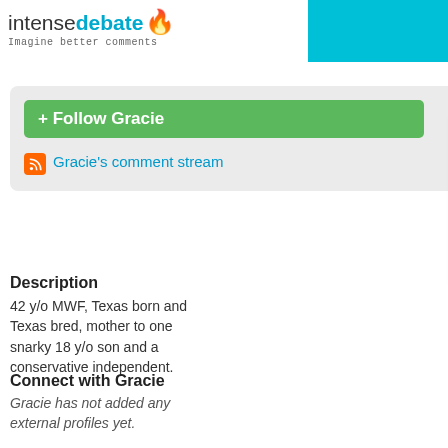intensedebate - Imagine better comments
[Figure (logo): IntenseDebate logo with flame icon and tagline 'Imagine better comments']
+ Follow Gracie
Gracie's comment stream
[Figure (photo): Loading polaroid... placeholder image]
Gracie 63p
240 comments posted
Description
42 y/o MWF, Texas born and Texas bred, mother to one snarky 18 y/o son and a conservative independent.
Connect with Gracie
Gracie has not added any external profiles yet.
People I'm following
12 years ago @ HGTV Design S
Congratulations Dan! Can't wait
12 years ago @ HGTV Design S
Beautiful home Jason! Love you Florida, I'd buy it.
12 years ago @ HGTV Design S
Congratulations Antonio! Dan, I v MORE, MORE, MORE of your d